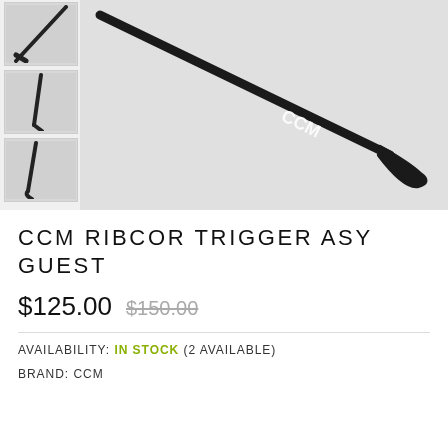[Figure (photo): Thumbnail images of CCM Ribcor Trigger hockey stick from multiple angles on left side]
[Figure (photo): Main product photo of a CCM Ribcor Trigger hockey stick, black, lying diagonally against a gray background]
CCM RIBCOR TRIGGER ASY GUEST
$125.00  $150.00 (strikethrough)
AVAILABILITY: IN STOCK (2 AVAILABLE)
BRAND: CCM